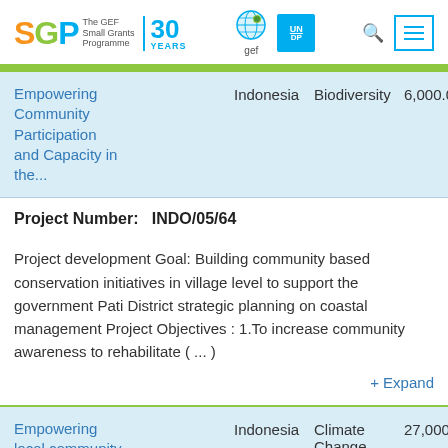[Figure (logo): SGP The GEF Small Grants Programme 30 Years logo with GEF globe and UNDP logos]
| Project Title | Country | Focal Area | Amount |
| --- | --- | --- | --- |
| Empowering Community Participation and Capacity in the... | Indonesia | Biodiversity | 6,000.00 |
| Empowering local community | Indonesia | Climate Change | 27,000.00 |
Project Number: INDO/05/64
Project development Goal: Building community based conservation initiatives in village level to support the government Pati District strategic planning on coastal management Project Objectives : 1.To increase community awareness to rehabilitate ( ... )
+ Expand